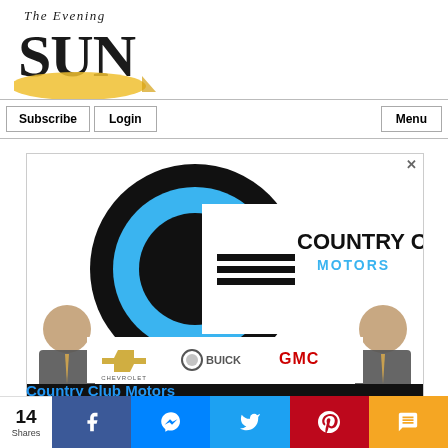[Figure (logo): The Evening Sun newspaper logo with large SUN text and gold arc beneath]
Subscribe   Login   Menu
[Figure (illustration): Country Club Motors advertisement featuring circular CC logo, Chevrolet, Buick, GMC brand logos, two men in suits, and countryclubmotors.com website]
Country Club Motors
14 Shares  Facebook  Messenger  Twitter  Pinterest  SMS